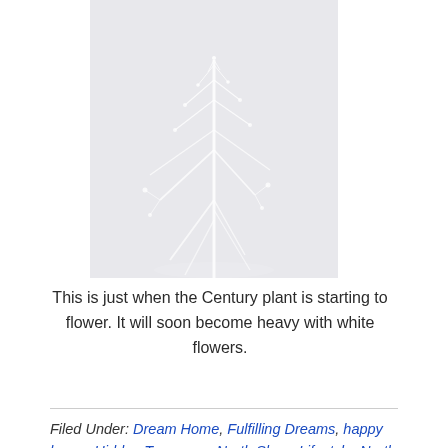[Figure (photo): A light gray image showing a white silhouette of a flowering plant (Century plant) with delicate branches against a pale gray background.]
This is just when the Century plant is starting to flower. It will soon become heavy with white flowers.
Filed Under: Dream Home, Fulfilling Dreams, happy home, Hidden Treasures, North Shore Lifestyle, North